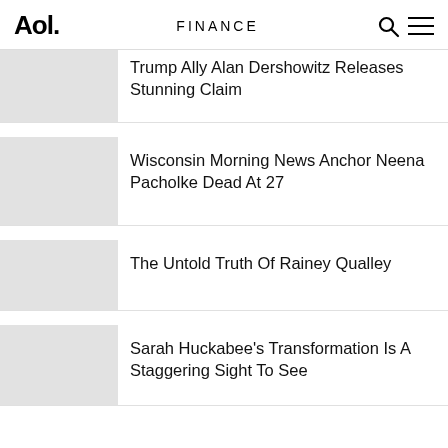Aol. FINANCE
Trump Ally Alan Dershowitz Releases Stunning Claim
Wisconsin Morning News Anchor Neena Pacholke Dead At 27
The Untold Truth Of Rainey Qualley
Sarah Huckabee's Transformation Is A Staggering Sight To See